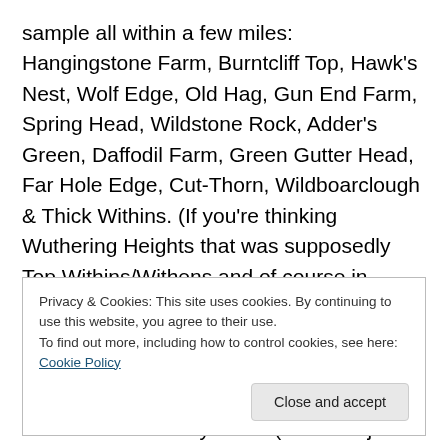sample all within a few miles: Hangingstone Farm, Burntcliff Top, Hawk's Nest, Wolf Edge, Old Hag, Gun End Farm, Spring Head, Wildstone Rock, Adder's Green, Daffodil Farm, Green Gutter Head, Far Hole Edge, Cut-Thorn, Wildboarclough & Thick Withins. (If you're thinking Wuthering Heights that was supposedly Top Withins/Withens and of course in Yorkshire.) Don't tell me they don't conjure up a picture, in your mind, of days gone by with very primitive living conditions and people walking across rainy windswept moorland and valley areas (or is that just me remembering Kate Bush)
Privacy & Cookies: This site uses cookies. By continuing to use this website, you agree to their use. To find out more, including how to control cookies, see here: Cookie Policy
Close and accept